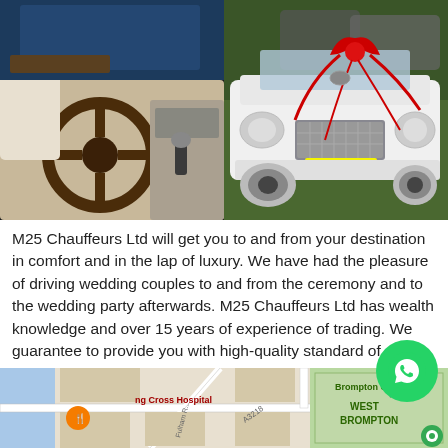[Figure (photo): Split image: left side shows interior of a luxury white Bentley with brown wood steering wheel and white leather seats; right side shows the front exterior of a white Bentley decorated with red ribbons and a red bow, parked outdoors with other cars in background.]
M25 Chauffeurs Ltd will get you to and from your destination in comfort and in the lap of luxury. We have had the pleasure of driving wedding couples to and from the ceremony and to the wedding party afterwards. M25 Chauffeurs Ltd has wealth knowledge and over 15 years of experience of trading. We guarantee to provide you with high-quality standard of services. M25 Chauffeur Ltd provides various different wedding car hire service packages tailored to meet your needs. Please confirm the exact car you require when you call or contact us.
[Figure (map): Google Maps snippet showing area near Charing Cross Hospital, West Brompton, Brompton Cemetery, roads A3218 and A341, with map pins for a café and a green location marker.]